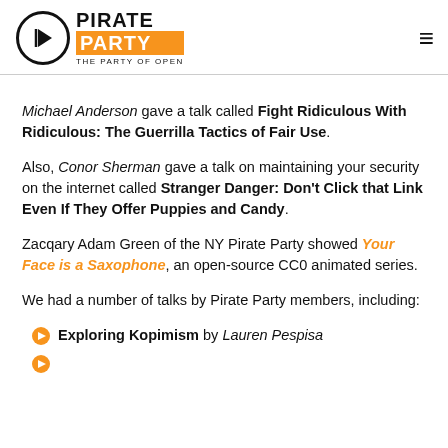PIRATE PARTY — THE PARTY OF OPEN
Michael Anderson gave a talk called Fight Ridiculous With Ridiculous: The Guerrilla Tactics of Fair Use.
Also, Conor Sherman gave a talk on maintaining your security on the internet called Stranger Danger: Don't Click that Link Even If They Offer Puppies and Candy.
Zacqary Adam Green of the NY Pirate Party showed Your Face is a Saxophone, an open-source CC0 animated series.
We had a number of talks by Pirate Party members, including:
Exploring Kopimism by Lauren Pespisa
(partially visible second item)